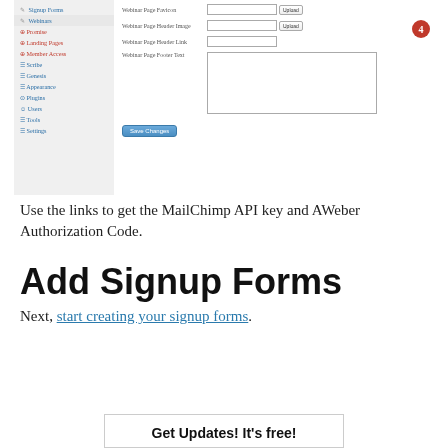[Figure (screenshot): WordPress admin panel screenshot showing webinar settings page with fields for Webinar Page Favicon, Webinar Page Header Image, Webinar Page Header Link, Webinar Page Footer Text, and a Save Changes button. A red circled number 4 badge is visible on the right. Left sidebar shows menu items: Signup Forms, Webinars, Promise, Landing Pages, Member Access, Scribe, Genesis, Appearance, Plugins, Users, Tools, Settings.]
Use the links to get the MailChimp API key and AWeber Authorization Code.
Add Signup Forms
Next, start creating your signup forms.
Get Updates! It's free!